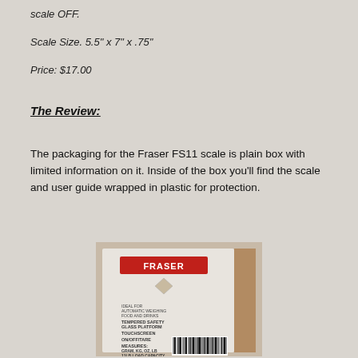scale OFF.
Scale Size. 5.5" x 7" x .75"
Price: $17.00
The Review:
The packaging for the Fraser FS11 scale is plain box with limited information on it. Inside of the box you'll find the scale and user guide wrapped in plastic for protection.
[Figure (photo): Photo of the Fraser FS11 scale box showing the Fraser logo in red, product label with details including Tempered Safety Glass Platform, Touchscreen, On/Off/Tare, Measures (gram, kg, oz, lb), 11lb load capacity, and a barcode.]